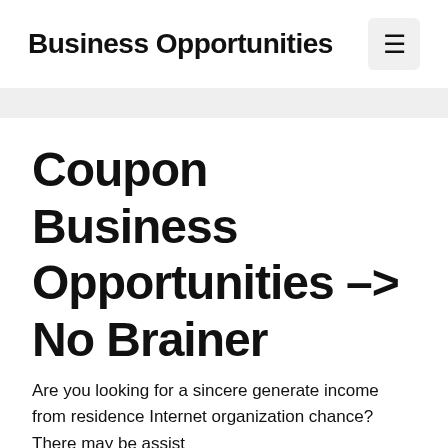Business Opportunities
Coupon Business Opportunities –> No Brainer
Are you looking for a sincere generate income from residence Internet organization chance? There may be assist...